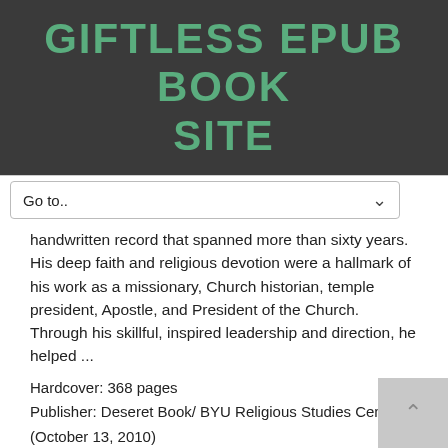GIFTLESS EPUB BOOK SITE
Go to..
handwritten record that spanned more than sixty years. His deep faith and religious devotion were a hallmark of his work as a missionary, Church historian, temple president, Apostle, and President of the Church. Through his skillful, inspired leadership and direction, he helped ...
Hardcover: 368 pages
Publisher: Deseret Book/ BYU Religious Studies Center (October 13, 2010)
Language: English
ISBN-10: 0842527761
ISBN-13: 978-0842527767
Package Dimensions: 9 x 6.3 x 1.2 inches
Amazon Rank: 4131610
Format: PDF ePub TXT ebook